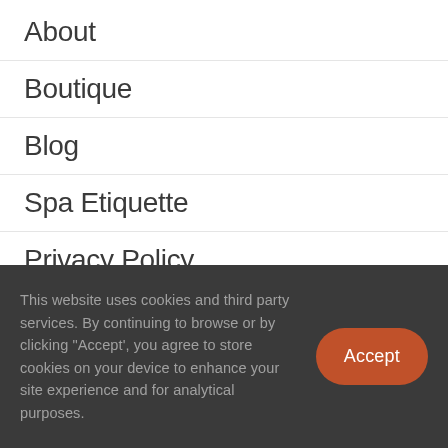About
Boutique
Blog
Spa Etiquette
Privacy Policy
Terms Of Use
This website uses cookies and third party services. By continuing to browse or by clicking "Accept', you agree to store cookies on your device to enhance your site experience and for analytical purposes.
Accept